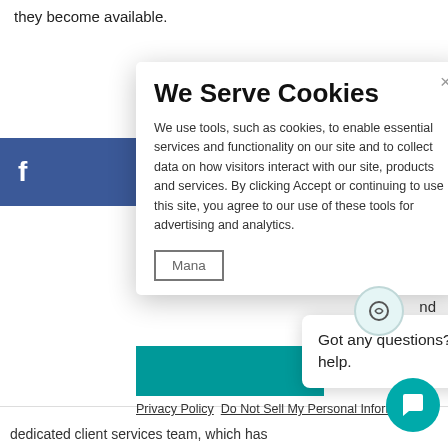they become available.
[Figure (screenshot): Cookie consent modal overlay on a webpage. Title: 'We Serve Cookies'. Body text explains use of cookies for essential services and functionality, data collection, advertising and analytics. Includes a close (×) button, Manage button, Accept teal bar, Privacy Policy and Do Not Sell My Personal Information links. A chat popup widget is also visible with the text 'Got any questions? I'm happy to help.' and a teal chat FAB button in the lower right.]
dedicated client services team, which has